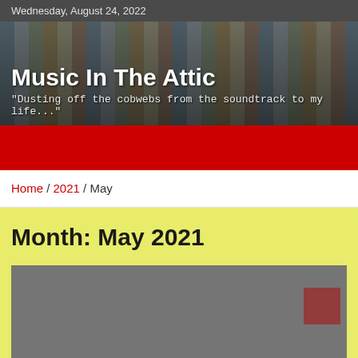Wednesday, August 24, 2022
[Figure (photo): Blog banner photo showing a collection of concert tickets and flyers pinned to a wall, with the blog title 'Music In The Attic' and subtitle 'Dusting off the cobwebs from the soundtrack to my life...' overlaid in white text]
Home / 2021 / May
Month: May 2021
[Figure (photo): Gray placeholder image for a blog article post thumbnail]